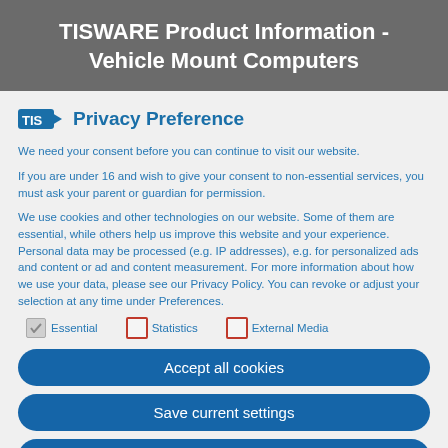TISWARE Product Information - Vehicle Mount Computers
Privacy Preference
We need your consent before you can continue to visit our website.
If you are under 16 and wish to give your consent to non-essential services, you must ask your parent or guardian for permission.
We use cookies and other technologies on our website. Some of them are essential, while others help us improve this website and your experience. Personal data may be processed (e.g. IP addresses), e.g. for personalized ads and content or ad and content measurement. For more information about how we use your data, please see our Privacy Policy. You can revoke or adjust your selection at any time under Preferences.
Essential   Statistics   External Media
Accept all cookies
Save current settings
Accept only necessary cookies